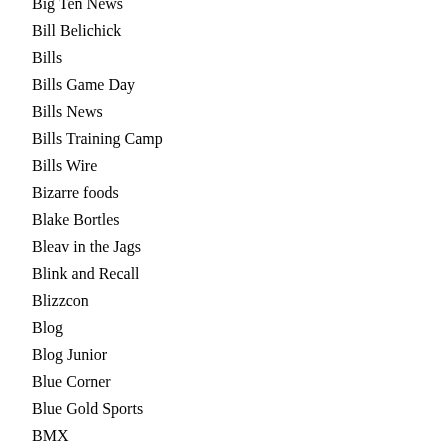Big Ten News
Bill Belichick
Bills
Bills Game Day
Bills News
Bills Training Camp
Bills Wire
Bizarre foods
Blake Bortles
Bleav in the Jags
Blink and Recall
Blizzcon
Blog
Blog Junior
Blue Corner
Blue Gold Sports
BMX